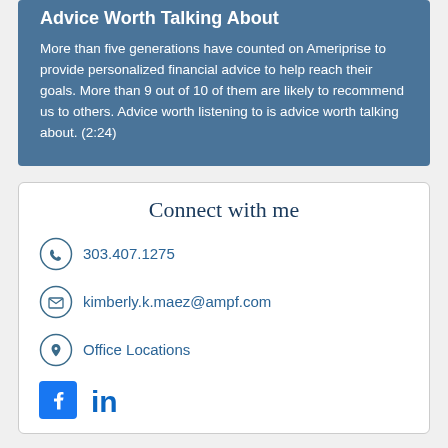Advice Worth Talking About
More than five generations have counted on Ameriprise to provide personalized financial advice to help reach their goals. More than 9 out of 10 of them are likely to recommend us to others. Advice worth listening to is advice worth talking about. (2:24)
Connect with me
303.407.1275
kimberly.k.maez@ampf.com
Office Locations